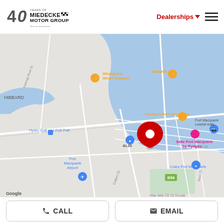[Figure (logo): Miedecke Motor Group logo with '40 Years of' text and checkered flag graphic, tagline 'Your car our passion']
[Figure (map): Google Maps screenshot showing Port Macquarie area with a red map pin marker, showing landmarks including Whalebone Wharf Seafood, BANKS cafe, Panthers Port Macquarie, ALDI, Port Macquarie Airport, Sails Port Macquarie by Rydges, Coles Port Macquarie, Port Macquarie coastal walk, Hydro Golf and Putt Putt. Map data ©2022 Google.]
MIEDECKE USED CARS